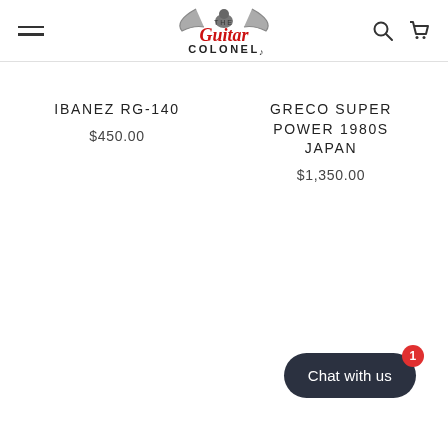The Guitar Colonel — navigation header with hamburger menu, logo, search and cart icons
IBANEZ RG-140
$450.00
GRECO SUPER POWER 1980S JAPAN
$1,350.00
Chat with us